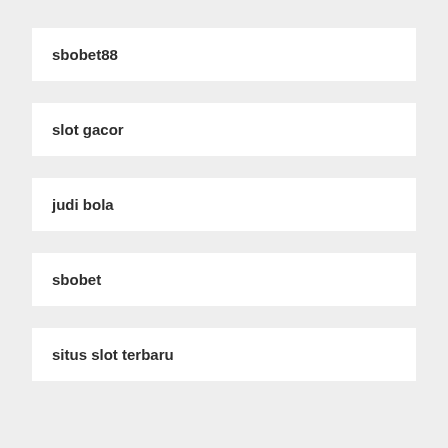sbobet88
slot gacor
judi bola
sbobet
situs slot terbaru